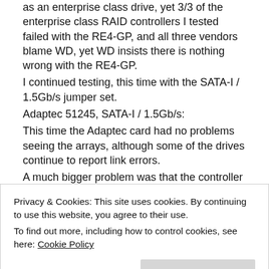as an enterprise class drive, yet 3/3 of the enterprise class RAID controllers I tested failed with the RE4-GP, and all three vendors blame WD, yet WD insists there is nothing wrong with the RE4-GP.
I continued testing, this time with the SATA-I / 1.5Gb/s jumper set.
Adaptec 51245, SATA-I / 1.5Gb/s:
This time the Adaptec card had no problems seeing the arrays, although some of the drives continue to report link errors.
A much bigger problem was that the controller and battery was overheating, the controller running at 103C /
Privacy & Cookies: This site uses cookies. By continuing to use this website, you agree to their use.
To find out more, including how to control cookies, see here: Cookie Policy
around 51C / 124F.